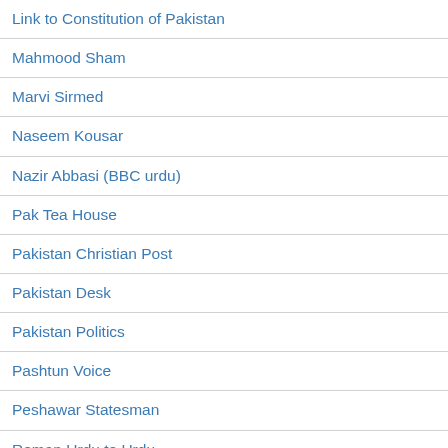Link to Constitution of Pakistan
Mahmood Sham
Marvi Sirmed
Naseem Kousar
Nazir Abbasi (BBC urdu)
Pak Tea House
Pakistan Christian Post
Pakistan Desk
Pakistan Politics
Pashtun Voice
Peshawar Statesman
Roman Urdu to Urdu
Science Ki Dunya